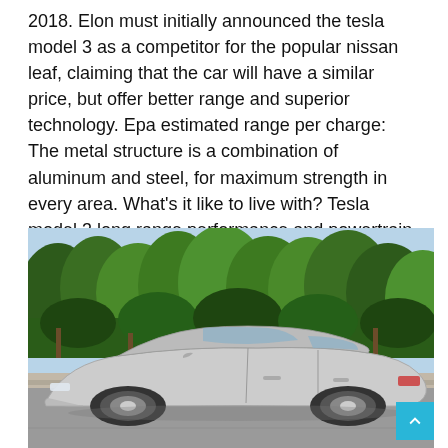2018. Elon must initially announced the tesla model 3 as a competitor for the popular nissan leaf, claiming that the car will have a similar price, but offer better range and superior technology. Epa estimated range per charge: The metal structure is a combination of aluminum and steel, for maximum strength in every area. What's it like to live with? Tesla model 3 long range performance and powertrain specs: Safety is the most important part of the overall model 3 design.
[Figure (photo): Side profile photo of a silver Tesla Model 3 parked on a road, with trees and green shrubbery visible in the background. A light blue scroll-to-top button is visible in the bottom-right corner.]